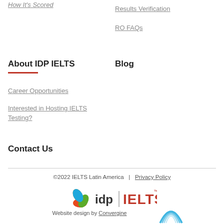How It's Scored
Results Verification
RO FAQs
About IDP IELTS
Career Opportunities
Interested in Hosting IELTS Testing?
Blog
Contact Us
©2022 IELTS Latin America  |  Privacy Policy
[Figure (logo): IDP IELTS logo with orange, red and green pinwheel icon followed by 'idp' text, a vertical bar, and 'IELTS' in red]
Website design by Convergine